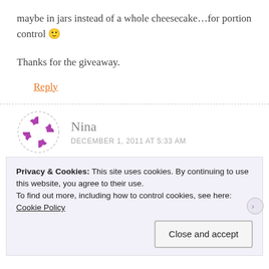maybe in jars instead of a whole cheesecake…for portion control 🙂
Thanks for the giveaway.
Reply
[Figure (illustration): Avatar icon for commenter Nina: circular dashed border with purple puzzle-piece-like shapes inside]
Nina
DECEMBER 1, 2011 AT 5:33 AM
I've subscribed to your newsletter.
Privacy & Cookies: This site uses cookies. By continuing to use this website, you agree to their use.
To find out more, including how to control cookies, see here: Cookie Policy
Close and accept